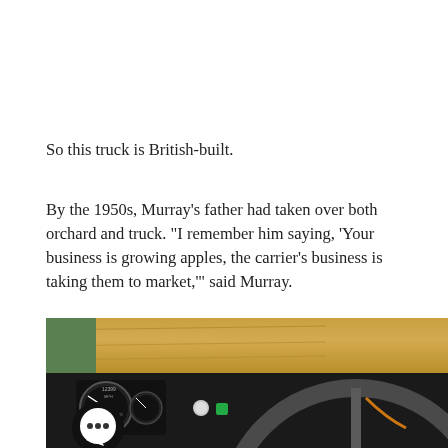So this truck is British-built.
By the 1950s, Murray's father had taken over both orchard and truck. "I remember him saying, 'Your business is growing apples, the carrier's business is taking them to market,'" said Murray.
[Figure (photo): Interior of a vintage truck cab showing a large dark grey steering wheel in the foreground, a wooden dashboard panel behind it, several round gauges including a speedometer, and a green exterior visible through the windshield. A black chat/comment bubble icon is overlaid in the lower left of the image.]